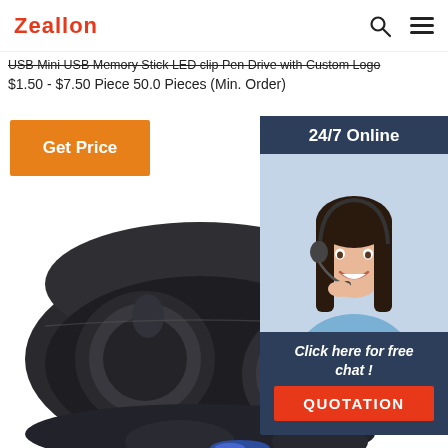Zeallon
USB Mini USB Memory Stick LED clip Pen Drive with Custom Logo
$1.50 - $7.50 Piece 50.0 Pieces (Min. Order)
Get Price
[Figure (screenshot): Chat widget with '24/7 Online' header, photo of a smiling woman with headset, 'Click here for free chat!' text, and orange QUOTATION button]
[Figure (photo): Black wireless earbuds in charging case, viewed from above and slightly to the side. The case is open showing two round earbuds. One earbud has a silver metallic ring on its face. Partial view of another earbud at the bottom.]